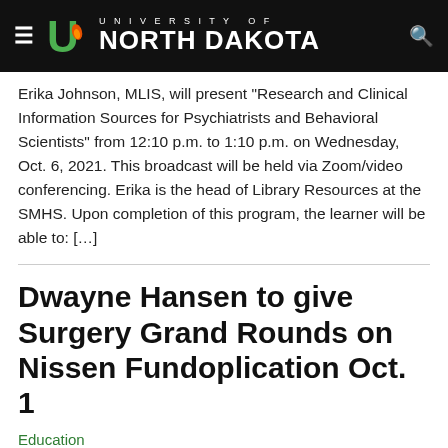University of North Dakota
Erika Johnson, MLIS, will present "Research and Clinical Information Sources for Psychiatrists and Behavioral Scientists" from 12:10 p.m. to 1:10 p.m. on Wednesday, Oct. 6, 2021. This broadcast will be held via Zoom/video conferencing. Erika is the head of Library Resources at the SMHS. Upon completion of this program, the learner will be able to: [...]
Dwayne Hansen to give Surgery Grand Rounds on Nissen Fundoplication Oct. 1
Education